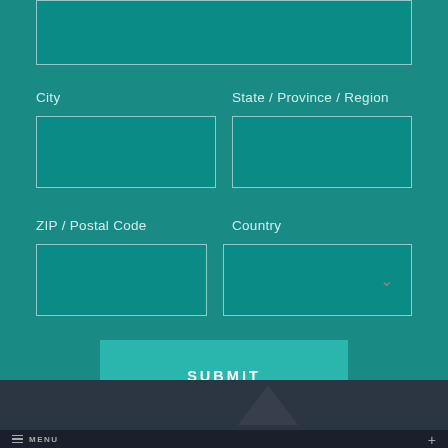[Figure (screenshot): Top portion of a form input field, partially cut off at top of page]
City
[Figure (screenshot): Empty text input field for City]
State / Province / Region
[Figure (screenshot): Empty text input field for State / Province / Region]
ZIP / Postal Code
[Figure (screenshot): Empty text input field for ZIP / Postal Code]
Country
[Figure (screenshot): Dropdown input field for Country with chevron icon]
SUBMIT
MENU